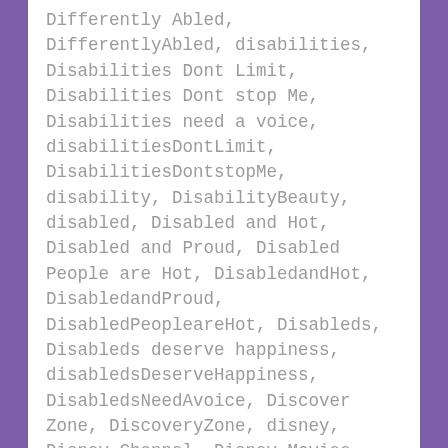Differently Abled, DifferentlyAbled, disabilities, Disabilities Dont Limit, Disabilities Dont stop Me, Disabilities need a voice, disabilitiesDontLimit, DisabilitiesDontstopMe, disability, DisabilityBeauty, disabled, Disabled and Hot, Disabled and Proud, Disabled People are Hot, DisabledandHot, DisabledandProud, DisabledPeopleareHot, Disableds, Disableds deserve happiness, disabledsDeserveHappiness, DisabledsNeedAvoice, Discover Zone, DiscoveryZone, disney, Disney Channel, Disney Movies, Disney TV, DisneyChannel, disorder, doctor, Doctors, dolls, Dont Stop Believing, DontStopBelieving, Dream, Dream big, DreamBig, dreamer, dreamers, Dreaming, dreams, dreams can change the world,